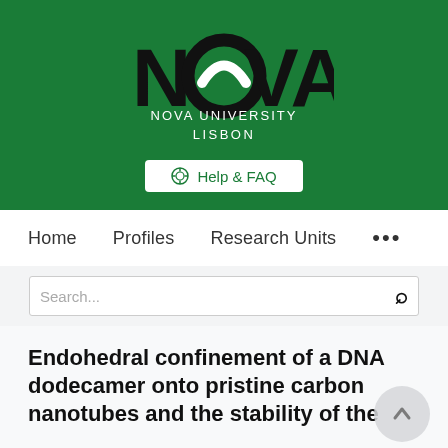[Figure (logo): NOVA University Lisbon logo on green background with Help & FAQ button]
Home   Profiles   Research Units   ...
Search...
Endohedral confinement of a DNA dodecamer onto pristine carbon nanotubes and the stability of the